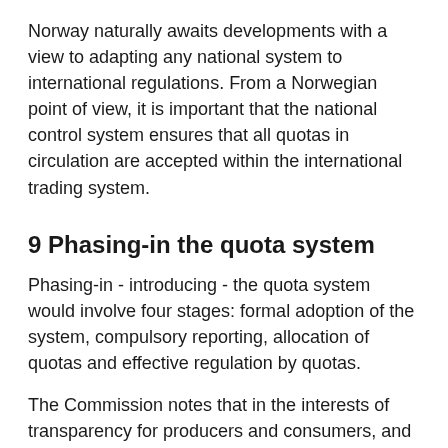Norway naturally awaits developments with a view to adapting any national system to international regulations. From a Norwegian point of view, it is important that the national control system ensures that all quotas in circulation are accepted within the international trading system.
9 Phasing-in the quota system
Phasing-in - introducing - the quota system would involve four stages: formal adoption of the system, compulsory reporting, allocation of quotas and effective regulation by quotas.
The Commission notes that in the interests of transparency for producers and consumers, and in particular for enterprises which must take a long-term view in making their investment decisions, the key elements of the quota system should be firmly in place...